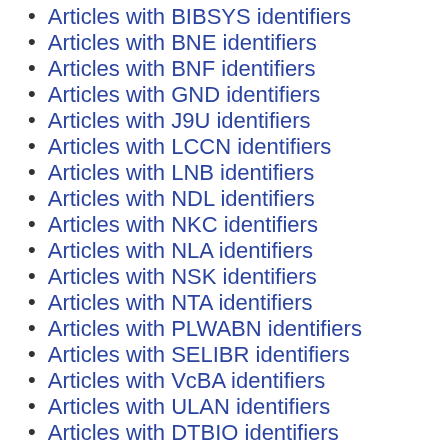Articles with BIBSYS identifiers
Articles with BNE identifiers
Articles with BNF identifiers
Articles with GND identifiers
Articles with J9U identifiers
Articles with LCCN identifiers
Articles with LNB identifiers
Articles with NDL identifiers
Articles with NKC identifiers
Articles with NLA identifiers
Articles with NSK identifiers
Articles with NTA identifiers
Articles with PLWABN identifiers
Articles with SELIBR identifiers
Articles with VcBA identifiers
Articles with ULAN identifiers
Articles with DTBIO identifiers